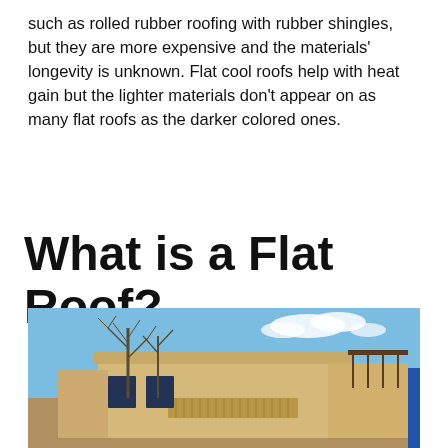such as rolled rubber roofing with rubber shingles, but they are more expensive and the materials' longevity is unknown. Flat cool roofs help with heat gain but the lighter materials don't appear on as many flat roofs as the darker colored ones.
Call to Get Roofing Project Quotes Now   (484) 604-2088
What is a Flat Roof?
[Figure (photo): Exterior photo of a flat-roofed southwestern-style building with beige/tan stucco walls, bare winter trees in the foreground, and a blue sky with clouds in the background.]